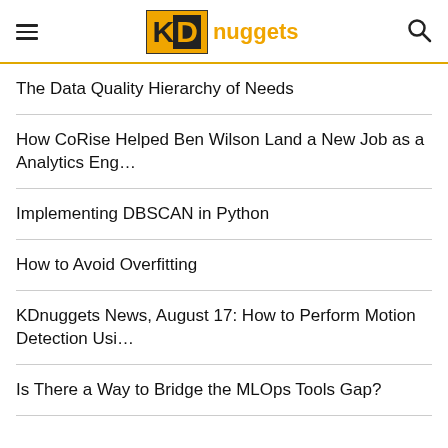KDnuggets
The Data Quality Hierarchy of Needs
How CoRise Helped Ben Wilson Land a New Job as a Analytics Eng…
Implementing DBSCAN in Python
How to Avoid Overfitting
KDnuggets News, August 17: How to Perform Motion Detection Usi…
Is There a Way to Bridge the MLOps Tools Gap?